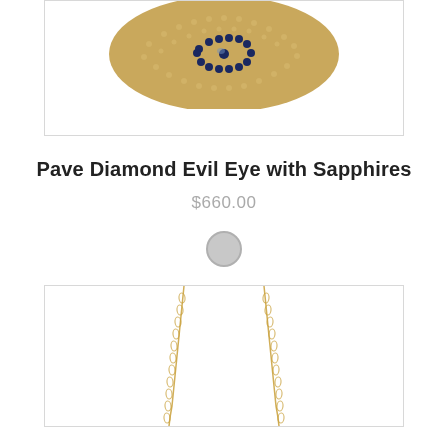[Figure (photo): Top portion of a pave diamond evil eye pendant with sapphires, shown cropped at the top of the page]
Pave Diamond Evil Eye with Sapphires
$660.00
[Figure (other): Gray circular color swatch selector]
[Figure (photo): Gold chain necklace product photo, partially visible at bottom of page]